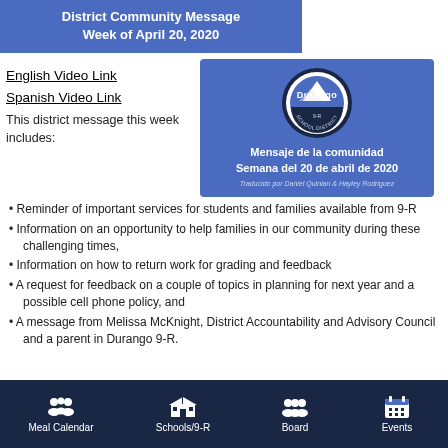District Community Message
Week of April 20, 2020
[Figure (logo): Durango School District 9-R logo with circular emblem and Spanish community message card: Mensaje de la comunidad Semana del 20 de abril de 2020. Traducido por Daniel Quinlan & Hayley Rodriguez]
English Video Link
Spanish Video Link
This district message this week includes:
Reminder of important services for students and families available from 9-R
Information on an opportunity to help families in our community during these challenging times,
Information on how to return work for grading and feedback
A request for feedback on a couple of topics in planning for next year and a possible cell phone policy, and
A message from Melissa McKnight, District Accountability and Advisory Council and a parent in Durango 9-R.
Meal Calendar   Schools/9-R   Board   Events